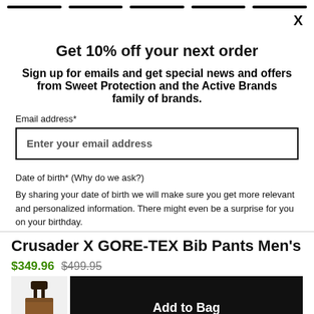Navigation bar
Get 10% off your next order
Sign up for emails and get special news and offers from Sweet Protection and the Active Brands family of brands.
Email address*
Enter your email address
Date of birth* (Why do we ask?)
By sharing your date of birth we will make sure you get more relevant and personalized information. There might even be a surprise for you on your birthday.
Crusader X GORE-TEX Bib Pants Men's
$349.96  $499.95
Add to Bag